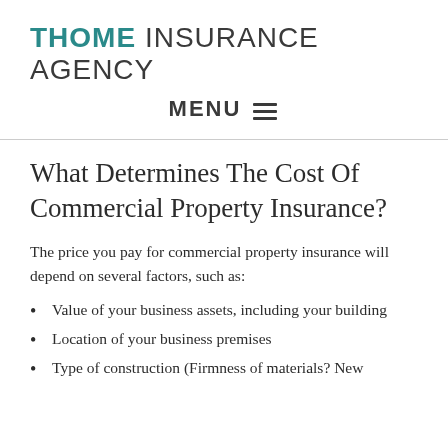THOME INSURANCE AGENCY
MENU ☰
What Determines The Cost Of Commercial Property Insurance?
The price you pay for commercial property insurance will depend on several factors, such as:
Value of your business assets, including your building
Location of your business premises
Type of construction (Firmness of materials? New...